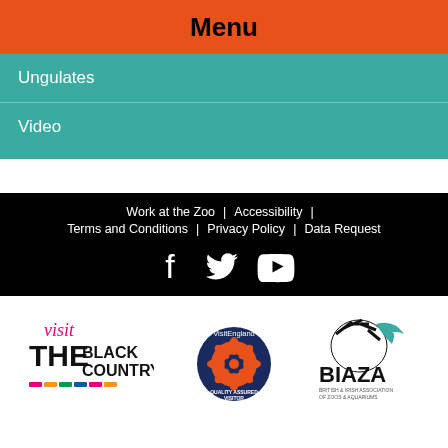Menu
Ungulates
Video
Work at the Zoo | Accessibility | Terms and Conditions | Privacy Policy | Data Request
[Figure (logo): Social media icons: Facebook, Twitter, YouTube]
[Figure (logo): Visit The Black Country logo]
[Figure (logo): VisitEngland Quality Assured Visitor Attraction badge]
[Figure (logo): BIAZA British and Irish Association of Zoos and Aquariums logo]